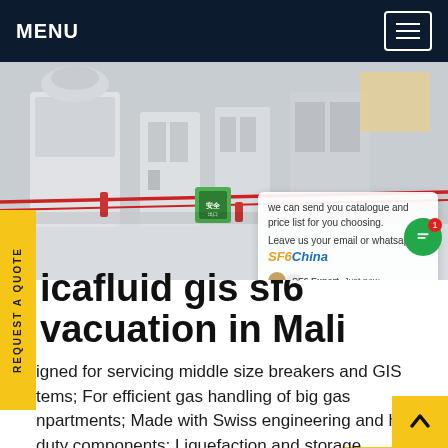MENU
[Figure (photo): Industrial GIS SF6 equipment with red safety tape and green signage in a facility]
icafluid gis sf6 vacuation in Mali
igned for servicing middle size breakers and GIS tems; For efficient gas handling of big gas npartments; Made with Swiss engineering and heavy-duty components; Liquefaction and storage into external cylinders; Reliable and loss-free recovery and purification of SF6; Evacuation of air